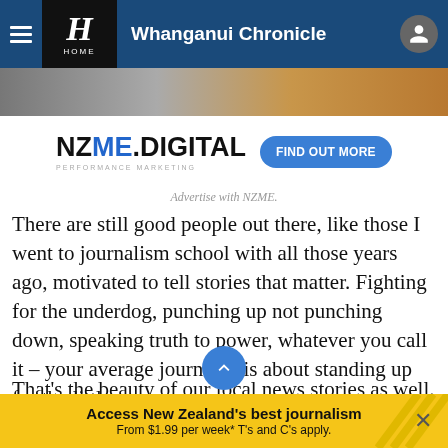Whanganui Chronicle
[Figure (screenshot): Top image strip showing partial photo]
[Figure (logo): NZME.DIGITAL Performance Marketing advertisement banner with FIND OUT MORE button]
Advertise with NZME.
There are still good people out there, like those I went to journalism school with all those years ago, motivated to tell stories that matter. Fighting for the underdog, punching up not punching down, speaking truth to power, whatever you call it – your average journalist is about standing up for the little guy.
That's the beauty of our local news stories as well. Imagine if we didn't have our local paper? If we only
Access New Zealand's best journalism From $1.99 per week* T's and C's apply.